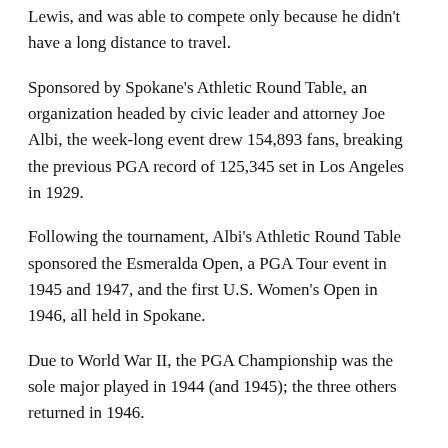Lewis, and was able to compete only because he didn't have a long distance to travel.
Sponsored by Spokane's Athletic Round Table, an organization headed by civic leader and attorney Joe Albi, the week-long event drew 154,893 fans, breaking the previous PGA record of 125,345 set in Los Angeles in 1929.
Following the tournament, Albi's Athletic Round Table sponsored the Esmeralda Open, a PGA Tour event in 1945 and 1947, and the first U.S. Women's Open in 1946, all held in Spokane.
Due to World War II, the PGA Championship was the sole major played in 1944 (and 1945); the three others returned in 1946.
U.S. WOMEN'S OPEN / Spokane Country Club